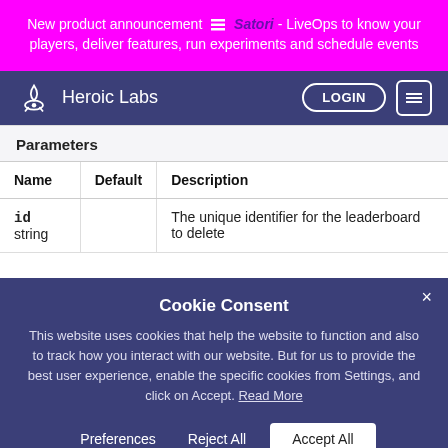New product announcement Satori - LiveOps to know your players, deliver features, run experiments and schedule events
Heroic Labs LOGIN
Parameters
| Name | Default | Description |
| --- | --- | --- |
| id string |  | The unique identifier for the leaderboard to delete |
Cookie Consent
This website uses cookies that help the website to function and also to track how you interact with our website. But for us to provide the best user experience, enable the specific cookies from Settings, and click on Accept. Read More
Preferences
Reject All
Accept All